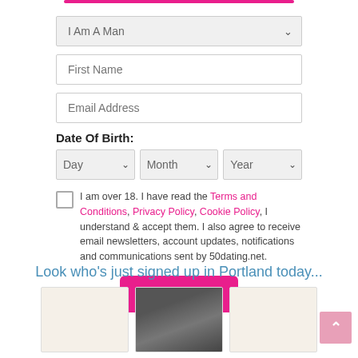[Figure (screenshot): Pink horizontal divider bar at top of registration form]
I Am A Man
First Name
Email Address
Date Of Birth:
Day | Month | Year
I am over 18. I have read the Terms and Conditions, Privacy Policy, Cookie Policy, I understand & accept them. I also agree to receive email newsletters, account updates, notifications and communications sent by 50dating.net.
Join For Free
Look who's just signed up in Portland today...
[Figure (photo): Three profile photo placeholders below sign-up section; middle one shows a man with glasses]